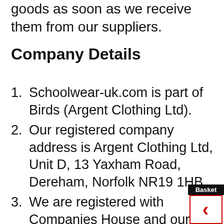goods as soon as we receive them from our suppliers.
Company Details
Schoolwear-uk.com is part of Birds (Argent Clothing Ltd).
Our registered company address is Argent Clothing Ltd, Unit D, 13 Yaxham Road, Dereham, Norfolk NR19 1HB.
We are registered with Companies House and our company registration number is 01151901.